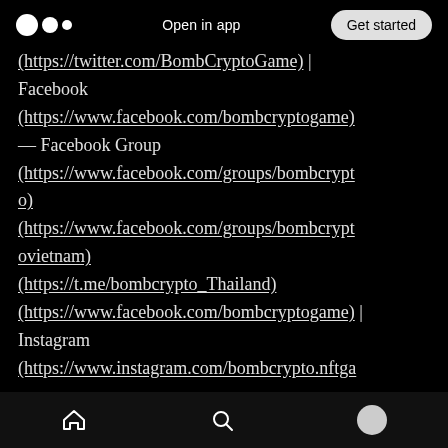Open in app | Get started
(https://twitter.com/BombCryptoGame) | Facebook (https://www.facebook.com/bombcryptogame) — Facebook Group (https://www.facebook.com/groups/bombcrypto) (https://www.facebook.com/groups/bombcryptovietnam) (https://t.me/bombcrypto_Thailand) (https://www.facebook.com/bombcryptogame) | Instagram (https://www.instagram.com/bombcrypto.nftga